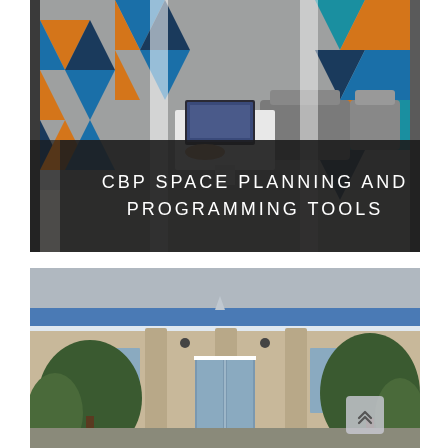[Figure (photo): Interior office/library seating area with colorful geometric patterned chair upholstery in orange, blue, and dark colors. A person is seated at a white table using a laptop. Modern modular seating and shelving visible. The lower portion of the image has a dark overlay with white text reading 'CBP SPACE PLANNING AND PROGRAMMING TOOLS'.]
CBP SPACE PLANNING AND PROGRAMMING TOOLS
[Figure (photo): Exterior of a modern building with a blue horizontal band/stripe near the top, tall columns, glass entrance doors, and evergreen trees/shrubs flanking the entrance. A back-to-top button with double chevron arrows is visible in the lower right corner.]